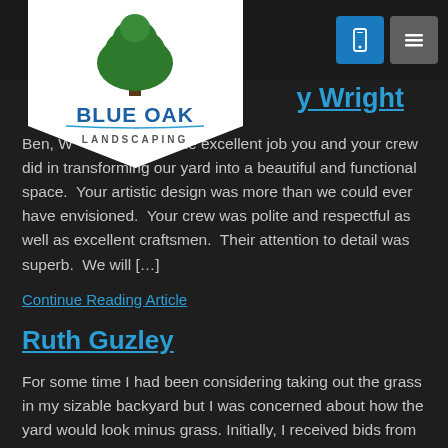[Figure (logo): Blue Oak Landscaping logo: white pentagon/shield shape with a green tree illustration above the text 'BLUE OAK' in bold blue and 'LANDSCAPING' in smaller gray letters]
D[...] y Wright
Ben, Wo... hank you for the excellent job you and your crew did in transforming our yard into a beautiful and functional space. Your artistic design was more than we could ever have envisioned. Your crew was polite and respectful as well as excellent craftsmen. Their attention to detail was superb. We will [...]
Continue Reading Article
Ruth Guzley
For some time I had been considering taking out the grass in my sizable backyard but I was concerned about how the yard would look minus grass. Initially, I received bids from two companies for the work and after the second bid I was very